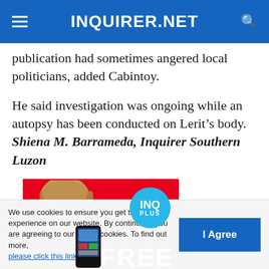INQUIRER.NET
publication had sometimes angered local politicians, added Cabintoy.
He said investigation was ongoing while an autopsy has been conducted on Lerit’s body. Shiena M. Barrameda, Inquirer Southern Luzon
[Figure (photo): Advertisement banner with red background showing a woman, a phone, INQ PLUS circle logo, and FREE text]
We use cookies to ensure you get the best experience on our website. By continuing, you are agreeing to our use of cookies. To find out more, please click this link.